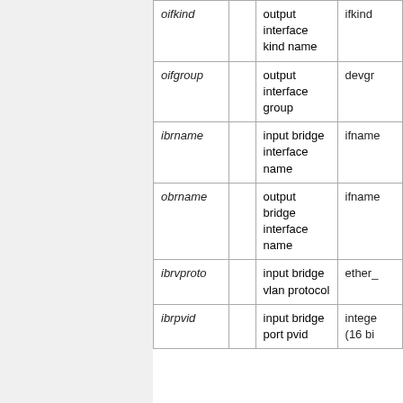| Name |  | Description | Type |
| --- | --- | --- | --- |
| oifkind |  | output interface kind name | ifkind |
| oifgroup |  | output interface group | devgr |
| ibrname |  | input bridge interface name | ifname |
| obrname |  | output bridge interface name | ifname |
| ibrvproto |  | input bridge vlan protocol | ether_ |
| ibrpvid |  | input bridge port pvid | intege (16 bi |